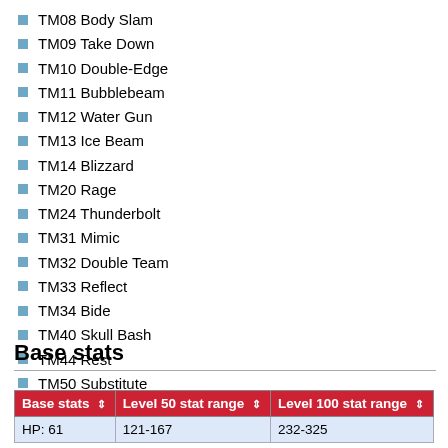TM08 Body Slam
TM09 Take Down
TM10 Double-Edge
TM11 Bubblebeam
TM12 Water Gun
TM13 Ice Beam
TM14 Blizzard
TM20 Rage
TM24 Thunderbolt
TM31 Mimic
TM32 Double Team
TM33 Reflect
TM34 Bide
TM40 Skull Bash
TM44 Rest
TM50 Substitute
Base stats
| Base stats ⇕ | Level 50 stat range ⇕ | Level 100 stat range ⇕ |
| --- | --- | --- |
| HP: 61 | 121-167 | 232-325 |